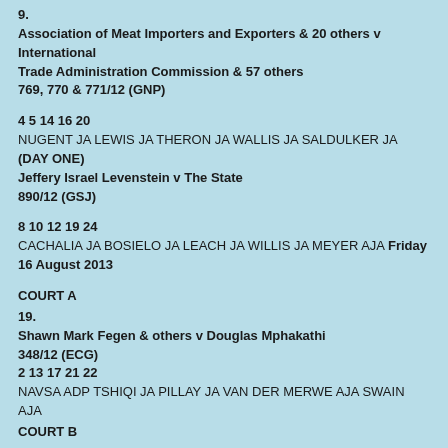9.
Association of Meat Importers and Exporters & 20 others v International
Trade Administration Commission & 57 others
769, 770 & 771/12 (GNP)
4 5 14 16 20
NUGENT JA LEWIS JA THERON JA WALLIS JA SALDULKER JA (DAY ONE)
Jeffery Israel Levenstein v The State
890/12 (GSJ)
8 10 12 19 24
CACHALIA JA BOSIELO JA LEACH JA WILLIS JA MEYER AJA Friday 16 August 2013
COURT A
19.
Shawn Mark Fegen & others v Douglas Mphakathi
348/12 (ECG)
2 13 17 21 22
NAVSA ADP TSHIQI JA PILLAY JA VAN DER MERWE AJA SWAIN AJA
COURT B
22. Nedbank Ltd v Ronald Mendelow & another NNO
686/12 (GNP)
LEWIS JA MAYA JA MALAN JA SHONGWE JA ZONDI AJA
(DAY TWO)
Jeffery Israel Levenstein v The State